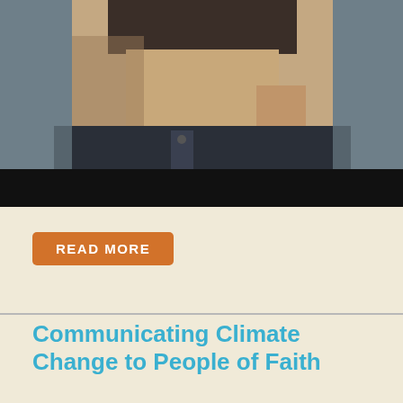[Figure (photo): Partial photo of a man in a dark jacket, cropped to show his head and upper torso against a blurred outdoor background, with a black bar at the bottom of the image.]
READ MORE
Communicating Climate Change to People of Faith
This one-hour webinar features renowned atmospheric scientist and Christian leader Dr. Katharine Hayhoe and Dr. Dan DiLeo, Catholic Climate Covenant consultant and Assistant Professor at Creighton University.